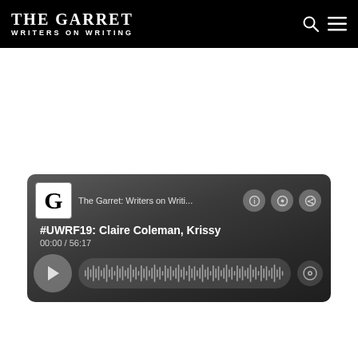THE GARRET WRITERS ON WRITING
[Figure (screenshot): Podcast player widget showing 'The Garret: Writers on Writi...' podcast with episode '#UWRF19: Claire Coleman, Krissy', timestamp 00:00 / 56:17, play button, waveform scrubber, and podcast icons on a dark gradient background.]